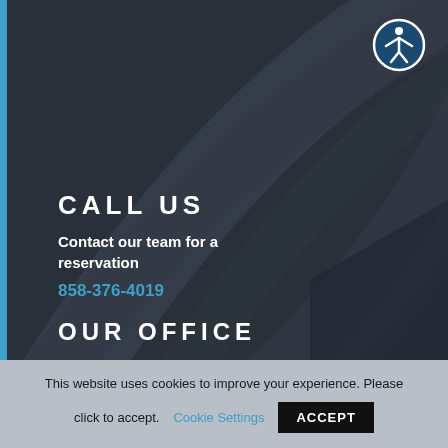[Figure (illustration): Dark slate background with concentric curved arc shapes and a blue vertical left border bar]
[Figure (illustration): Accessibility icon — white figure in a circle outline on dark blue background, top right corner]
CALL US
Contact our team for a reservation
858-376-4019
OUR OFFICE
This website uses cookies to improve your experience. Please click to accept.
Cookie Settings
ACCEPT